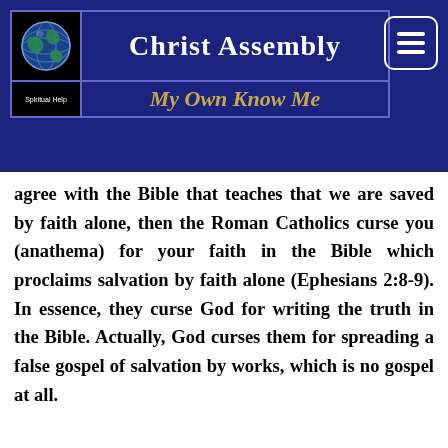Christ Assembly — My Own Know Me
agree with the Bible that teaches that we are saved by faith alone, then the Roman Catholics curse you (anathema) for your faith in the Bible which proclaims salvation by faith alone (Ephesians 2:8-9). In essence, they curse God for writing the truth in the Bible. Actually, God curses them for spreading a false gospel of salvation by works, which is no gospel at all.